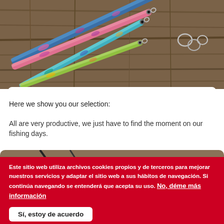[Figure (photo): Colorful fishing lures laid on a wooden surface. Multiple lures in blue, pink, and green colors with hooks, arranged diagonally.]
Here we show you our selection:
All are very productive, we just have to find the moment on our fishing days.
[Figure (photo): Close-up of fishing lures on a wooden board, partially visible at the bottom of the page.]
Este sitio web utiliza archivos cookies propios y de terceros para mejorar nuestros servicios y adaptar el sitio web a sus hábitos de navegación. Si continúa navegando se entenderá que acepta su uso. No, déme más información
Sí, estoy de acuerdo